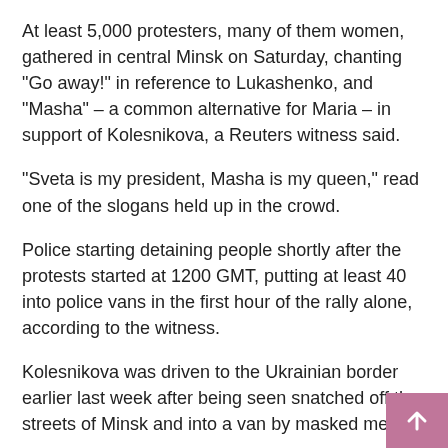At least 5,000 protesters, many of them women, gathered in central Minsk on Saturday, chanting "Go away!" in reference to Lukashenko, and "Masha" – a common alternative for Maria – in support of Kolesnikova, a Reuters witness said.
"Sveta is my president, Masha is my queen," read one of the slogans held up in the crowd.
Police starting detaining people shortly after the protests started at 1200 GMT, putting at least 40 into police vans in the first hour of the rally alone, according to the witness.
Kolesnikova was driven to the Ukrainian border earlier last week after being seen snatched off the streets of Minsk and into a van by masked men.
According to two allies who were Read More – Source